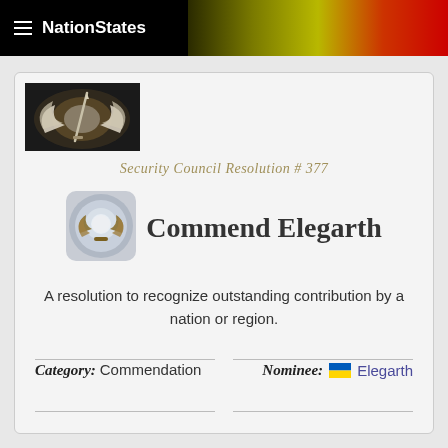NationStates
[Figure (illustration): Security Council emblem — sword over white wings with radiant light, dark background]
Security Council Resolution # 377
[Figure (logo): Gold laurel wreath commendation badge on grey circular background]
Commend Elegarth
A resolution to recognize outstanding contribution by a nation or region.
Category: Commendation
Nominee: Elegarth
Proposed by: Giovanniland